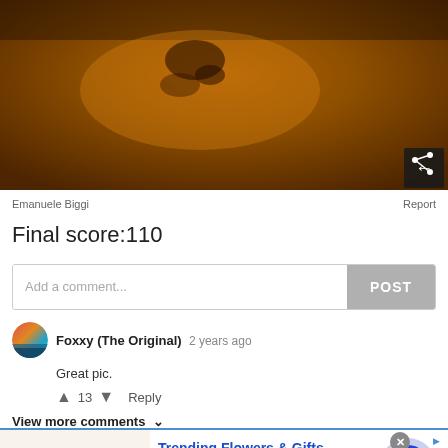[Figure (photo): Close-up photo of an animal or object with warm golden/amber tones, dark blurred background. A share icon button appears in the bottom-right corner of the image.]
Emanuele Biggi
Report
Final score:110
Add a comment...
POST
Foxxy (The Original)  2 years ago
Great pic.
13  Reply
View more comments
[Figure (photo): Advertisement banner for 1800flowers.com showing a colorful flower bouquet on the left, text 'Trending Flowers & Gifts / Shop The Collection / www.1800flowers.com' in the center, a close button (X) in the top right, an ad indicator triangle on the far right, and a blue circular arrow/next button on the right side.]